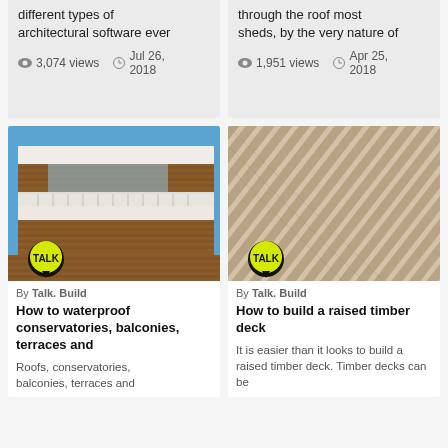different types of architectural software ever
3,074 views   Jul 26, 2018
through the roof most sheds, by the very nature of
1,951 views   Apr 25, 2018
[Figure (photo): Modern building with balconies, wood cladding and blue sky]
By Talk. Build
How to waterproof conservatories, balconies, terraces and
Roofs, conservatories, balconies, terraces and
[Figure (photo): Close-up of diagonal timber deck boards in beige/brown tones]
By Talk. Build
How to build a raised timber deck
It is easier than it looks to build a raised timber deck. Timber decks can be